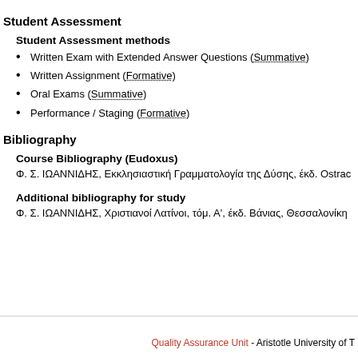Student Assessment
Student Assessment methods
Written Exam with Extended Answer Questions (Summative)
Written Assignment (Formative)
Oral Exams (Summative)
Performance / Staging (Formative)
Bibliography
Course Bibliography (Eudoxus)
Φ. Σ. ΙΩΑΝΝΙΔΗΣ, Εκκλησιαστική Γραμματολογία της Δύσης, έκδ. Ostrac
Additional bibliography for study
Φ. Σ. ΙΩΑΝΝΙΔΗΣ, Χριστιανοί Λατίνοι, τόμ. Α', έκδ. Βάνιας, Θεσσαλονίκη
Quality Assurance Unit - Aristotle University of T